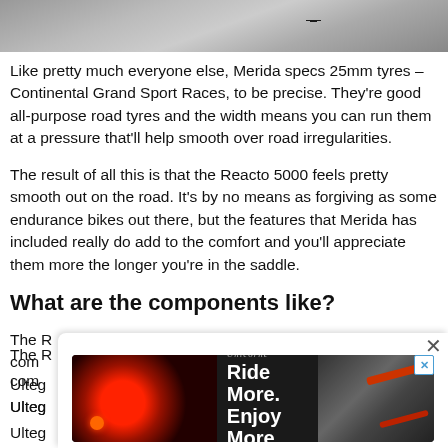[Figure (photo): Top portion of a bicycle component photo, cropped at the top of the page]
Like pretty much everyone else, Merida specs 25mm tyres – Continental Grand Sport Races, to be precise. They're good all-purpose road tyres and the width means you can run them at a pressure that'll help smooth over road irregularities.
The result of all this is that the Reacto 5000 feels pretty smooth out on the road. It's by no means as forgiving as some endurance bikes out there, but the features that Merida has included really do add to the comfort and you'll appreciate them more the longer you're in the saddle.
What are the components like?
The [Reacto 5000 comes with a mix of] comp[onents...] Ulteg[ra...] with Ulteg[ra...] ant
[Figure (screenshot): Advertisement overlay showing 'Ride More. Enjoy More' with a bicycle light product image on a dark background, with a close button (×) in the top right corner]